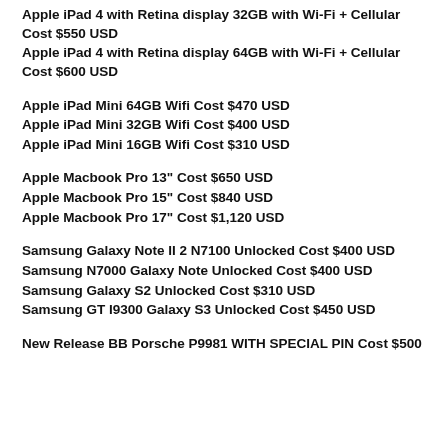Apple iPad 4 with Retina display 32GB with Wi-Fi + Cellular Cost $550 USD
Apple iPad 4 with Retina display 64GB with Wi-Fi + Cellular Cost $600 USD
Apple iPad Mini 64GB Wifi Cost $470 USD
Apple iPad Mini 32GB Wifi Cost $400 USD
Apple iPad Mini 16GB Wifi Cost $310 USD
Apple Macbook Pro 13" Cost $650 USD
Apple Macbook Pro 15" Cost $840 USD
Apple Macbook Pro 17" Cost $1,120 USD
Samsung Galaxy Note II 2 N7100 Unlocked Cost $400 USD
Samsung N7000 Galaxy Note Unlocked Cost $400 USD
Samsung Galaxy S2 Unlocked Cost $310 USD
Samsung GT I9300 Galaxy S3 Unlocked Cost $450 USD
New Release BB Porsche P9981 WITH SPECIAL PIN Cost $500